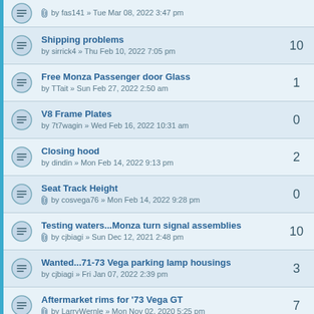by fas141 » Tue Mar 08, 2022 3:47 pm | replies: ?
Shipping problems | by sirrick4 » Thu Feb 10, 2022 7:05 pm | replies: 10
Free Monza Passenger door Glass | by TTait » Sun Feb 27, 2022 2:50 am | replies: 1
V8 Frame Plates | by 7t7wagin » Wed Feb 16, 2022 10:31 am | replies: 0
Closing hood | by dindin » Mon Feb 14, 2022 9:13 pm | replies: 2
Seat Track Height | by cosvega76 » Mon Feb 14, 2022 9:28 pm | replies: 0
Testing waters...Monza turn signal assemblies | by cjbiagi » Sun Dec 12, 2021 2:48 pm | replies: 10
Wanted...71-73 Vega parking lamp housings | by cjbiagi » Fri Jan 07, 2022 2:39 pm | replies: 3
Aftermarket rims for '73 Vega GT | by LarryWernle » Mon Nov 02, 2020 5:25 pm | replies: 7
vega driverside exhaust manifold | by grimmreaper » Sat Jan 15, 2022 9:34 am | replies: 2
copper zinc brake line | by chevyart » Sun Jan 09, 2022 4:06 pm | replies: 6
New to vegas, but do all the "V8 headers" look this | replies: 10